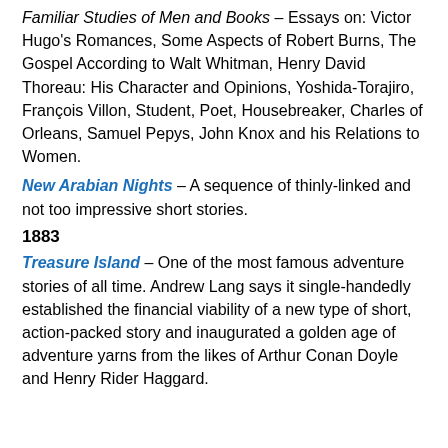Familiar Studies of Men and Books – Essays on: Victor Hugo's Romances, Some Aspects of Robert Burns, The Gospel According to Walt Whitman, Henry David Thoreau: His Character and Opinions, Yoshida-Torajiro, François Villon, Student, Poet, Housebreaker, Charles of Orleans, Samuel Pepys, John Knox and his Relations to Women.
New Arabian Nights – A sequence of thinly-linked and not too impressive short stories.
1883
Treasure Island – One of the most famous adventure stories of all time. Andrew Lang says it single-handedly established the financial viability of a new type of short, action-packed story and inaugurated a golden age of adventure yarns from the likes of Arthur Conan Doyle and Henry Rider Haggard.